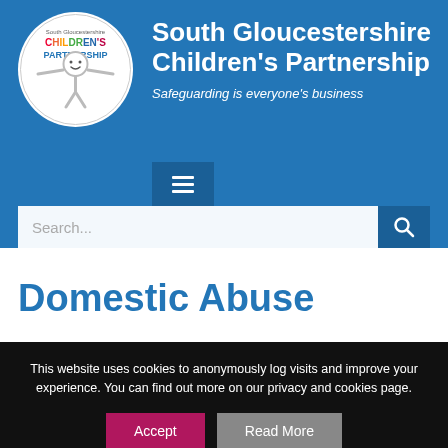[Figure (logo): South Gloucestershire Children's Partnership logo — circular white logo with smiley face figure and colourful text]
South Gloucestershire Children's Partnership
Safeguarding is everyone's business
[Figure (other): Hamburger menu icon button]
[Figure (other): Search bar with magnifying glass button]
Domestic Abuse
This website uses cookies to anonymously log visits and improve your experience. You can find out more on our privacy and cookies page.
Accept
Read More